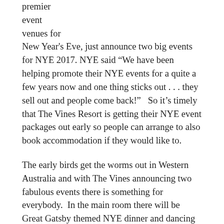premier event venues for New Year's Eve, just announce two big events for NYE 2017. NYE said “We have been helping promote their NYE events for a quite a few years now and one thing sticks out . . . they sell out and people come back!”   So it’s timely that The Vines Resort is getting their NYE event packages out early so people can arrange to also book accommodation if they would like to.
The early birds get the worms out in Western Australia and with The Vines announcing two fabulous events there is something for everybody.  In the main room there will be Great Gatsby themed NYE dinner and dancing fun event that is an all inclusive package catering towards adults.  The second NYE event is more family themed entitled the NYE Family Countdown.  Make sure you checkout all the details of these fab events quickly and get your group together.